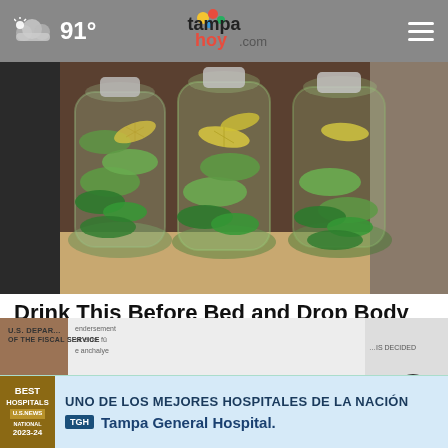91° tampahoy.com
[Figure (photo): Three glass bottles filled with cucumber, lemon slices, and mint leaves infused water, sitting on a kitchen counter]
Drink This Before Bed and Drop Body Weight Like Crazy
Health
[Figure (infographic): Advertisement banner: Best Hospitals US News National - UNO DE LOS MEJORES HOSPITALES DE LA NACION - Tampa General Hospital]
U.S. DEPARTMENT OF THE FISCAL SERVICE